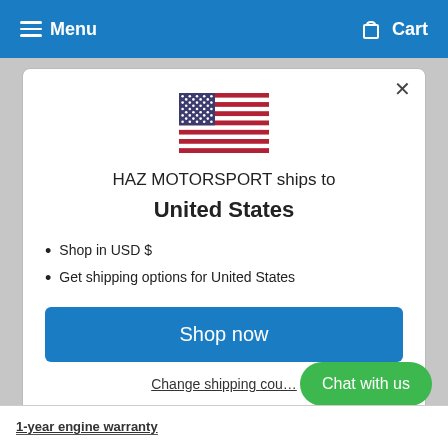Menu  Cart
[Figure (illustration): US flag SVG icon centered in modal]
HAZ MOTORSPORT ships to United States
Shop in USD $
Get shipping options for United States
Shop now
Change shipping country
Chat with us
1-year engine warranty